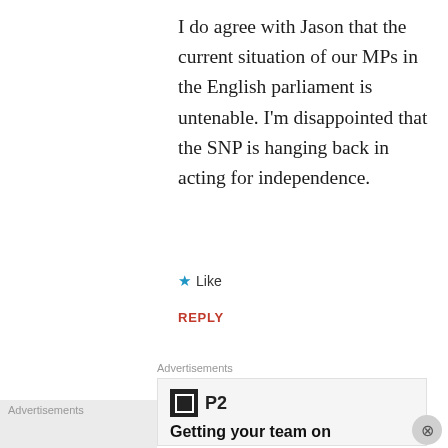I do agree with Jason that the current situation of our MPs in the English parliament is untenable. I'm disappointed that the SNP is hanging back in acting for independence.
★ Like
REPLY
Advertisements
[Figure (screenshot): Advertisement box with P2 logo (black square with white nested square, bold 'P2' text) and headline 'Getting your team on']
Advertisements